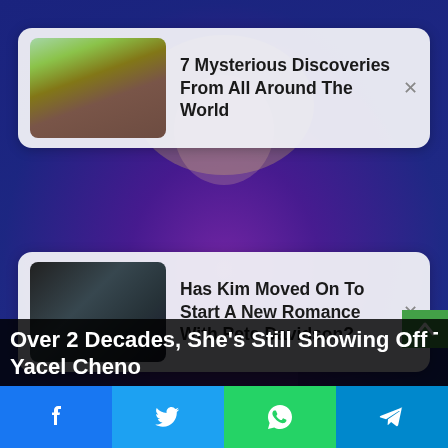[Figure (screenshot): Background image of a performer in a rainbow/colorful outfit on stage with purple and blue background]
7 Mysterious Discoveries From All Around The World
Has Kim Moved On To Start A New Romance With Pete Davidson?
Over 2 Decades, She's Still Showing Off Those K... Yacel Cheno
Facebook share icon
Twitter share icon
WhatsApp share icon
Telegram share icon